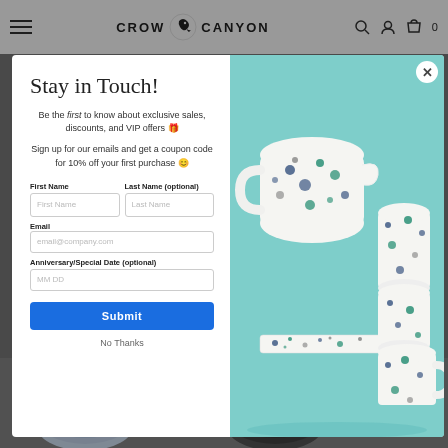CROW CANYON
[Figure (screenshot): Crow Canyon website with email signup modal overlay. Left side of modal contains a form with title 'Stay in Touch!', text about exclusive offers and 10% off coupon, and fields for First Name, Last Name, Email, Anniversary/Special Date, plus Submit button and No Thanks link. Right side shows a photo of speckled enamelware ceramics (pitcher, cups, mugs) on teal background. Bottom of page shows product bowl images.]
Stay in Touch!
Be the first to know about exclusive sales, discounts, and VIP offers 🎁
Sign up for our emails and get a coupon code for 10% off your first purchase 😊
First Name
Last Name (optional)
Email
Anniversary/Special Date (optional)
Submit
No Thanks